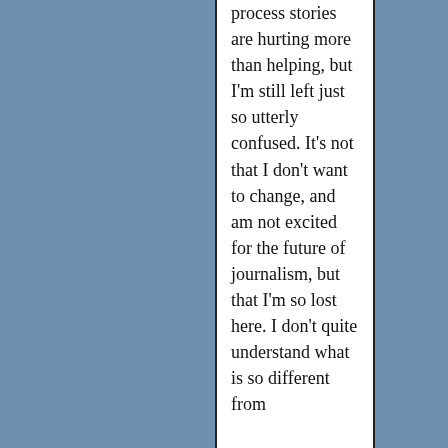process stories are hurting more than helping, but I'm still left just so utterly confused. It's not that I don't want to change, and am not excited for the future of journalism, but that I'm so lost here. I don't quite understand what is so different from